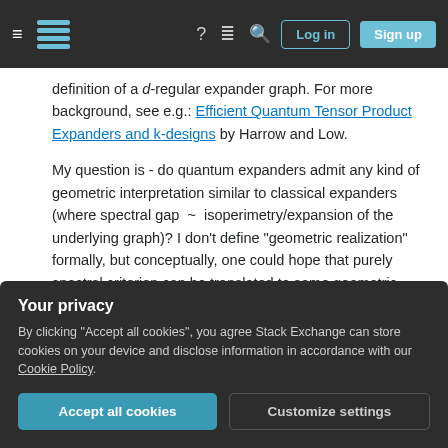Stack Exchange navigation bar with Log in and Sign up buttons
definition of a d-regular expander graph. For more background, see e.g.: Efficient Quantum Tensor Product Expanders and k-designs by Harrow and Low.
My question is - do quantum expanders admit any kind of geometric interpretation similar to classical expanders (where spectral gap ~ isoperimetry/expansion of the underlying graph)? I don't define "geometric realization" formally, but conceptually, one could hope that purely spectral criterion can be translated to some geometric picture (which, in the classical case, is the source of
Your privacy
By clicking "Accept all cookies", you agree Stack Exchange can store cookies on your device and disclose information in accordance with our Cookie Policy.